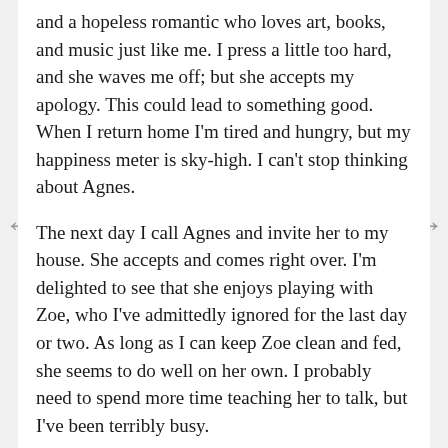and a hopeless romantic who loves art, books, and music just like me. I press a little too hard, and she waves me off; but she accepts my apology. This could lead to something good. When I return home I'm tired and hungry, but my happiness meter is sky-high. I can't stop thinking about Agnes.
The next day I call Agnes and invite her to my house. She accepts and comes right over. I'm delighted to see that she enjoys playing with Zoe, who I've admittedly ignored for the last day or two. As long as I can keep Zoe clean and fed, she seems to do well on her own. I probably need to spend more time teaching her to talk, but I've been terribly busy.
After a few more visits and lots more flirting